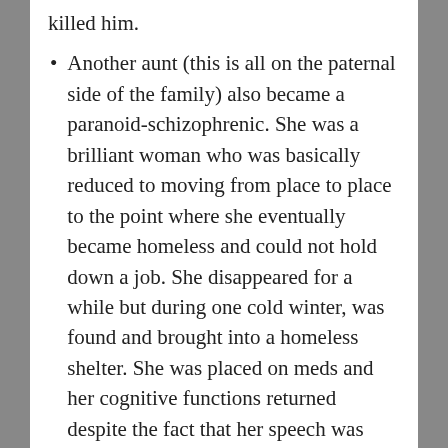killed him.
Another aunt (this is all on the paternal side of the family) also became a paranoid-schizophrenic. She was a brilliant woman who was basically reduced to moving from place to place to the point where she eventually became homeless and could not hold down a job. She disappeared for a while but during one cold winter, was found and brought into a homeless shelter. She was placed on meds and her cognitive functions returned despite the fact that her speech was sometimes garbled. She traveled the world, went on cruises and various excursions. The change was remarkable. Psych meds improved her life and saved her—the benefits of the drugs outweighed the side effects.